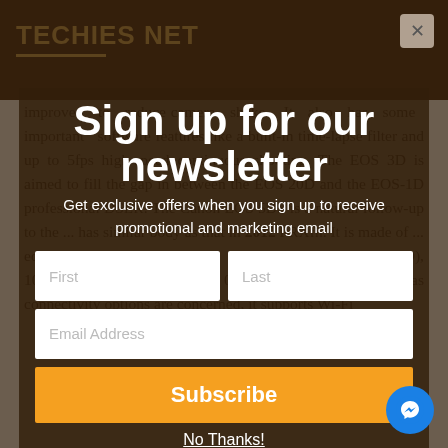TECHIES NET
Sign up for our newsletter
Get exclusive offers when you sign up to receive promotional and marketing email
improved to reduce camera shake. It also has some important software features like a built-in time-lapse filter and up to 5fps high-speed continuous shooting. The EOS 3D is aimed to fill the gap in between the EOS 20D and the EOS-1D professional DSLR. The Canon EOS 5DS is a natural follow-up to the ... has similar body as that in 2012 PRXfn. It is made of ... equipped with 3.2 inch LCD display (1 million dot LCD), 1080p video and viewfinder 0.71x magnification ... far as connectivity options are concerned, it supports Wi-Fi
Subscribe
No Thanks!